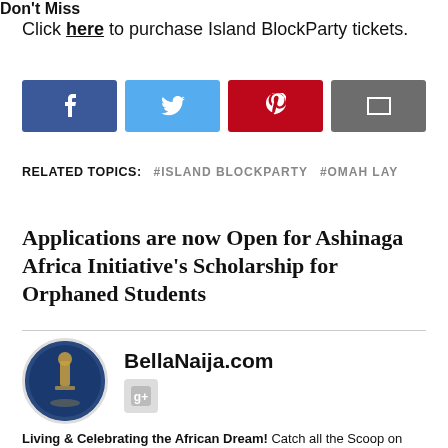Click here to purchase Island BlockParty tickets.
[Figure (infographic): Social sharing buttons: Facebook (blue), Twitter (light blue), Pinterest (red/dark red), Email (grey)]
RELATED TOPICS: #ISLAND BLOCKPARTY  #OMAH LAY
DON'T MISS
Applications are now Open for Ashinaga Africa Initiative's Scholarship for Orphaned Students
[Figure (photo): BellaNaija.com avatar - circular photo showing a golden statue against blue sky]
BellaNaija.com
Living & Celebrating the African Dream! Catch all the Scoop on www.bellanaija.com Follow us Twitter: @bellanaija Facebook: @bellanaija Instagram: